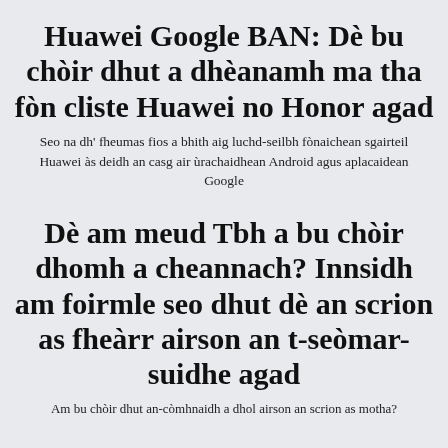Huawei Google BAN: Dè bu chòir dhut a dhèanamh ma tha fòn cliste Huawei no Honor agad
Seo na dh' fheumas fios a bhith aig luchd-seilbh fònaichean sgairteil Huawei às deidh an casg air ùrachaidhean Android agus aplacaidean Google
Dè am meud Tbh a bu chòir dhomh a cheannach? Innsidh am foirmle seo dhut dè an scrion as fheàrr airson an t-seòmar-suidhe agad
Am bu chòir dhut an-còmhnaidh a dhol airson an scrion as motha?